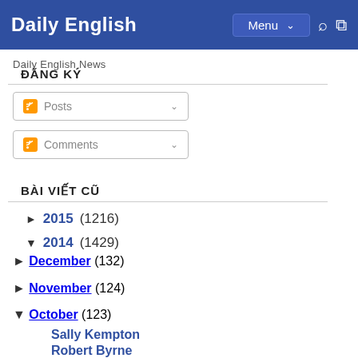Daily English | Menu
Daily English News
ĐĂNG KÝ
Posts
Comments
BÀI VIẾT CŨ
► 2015 (1216)
▼ 2014 (1429)
► December (132)
► November (124)
▼ October (123)
Sally Kempton
Robert Byrne
Dean Martin